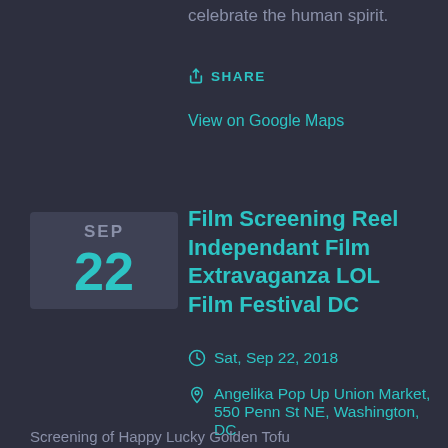celebrate the human spirit.
SHARE
View on Google Maps
Film Screening Reel Independant Film Extravaganza LOL Film Festival DC
SEP 22
Sat, Sep 22, 2018
Angelika Pop Up Union Market, 550 Penn St NE, Washington, DC
Screening of Happy Lucky Golden Tofu